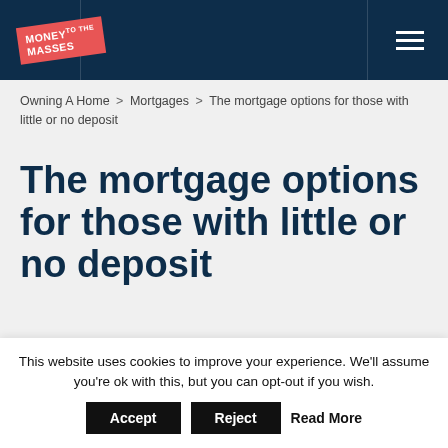Money to the Masses
Owning A Home > Mortgages > The mortgage options for those with little or no deposit
The mortgage options for those with little or no deposit
By Dean Mason  2 min Read  Published: 21 Feb 2013
This website uses cookies to improve your experience. We'll assume you're ok with this, but you can opt-out if you wish. Accept Reject Read More